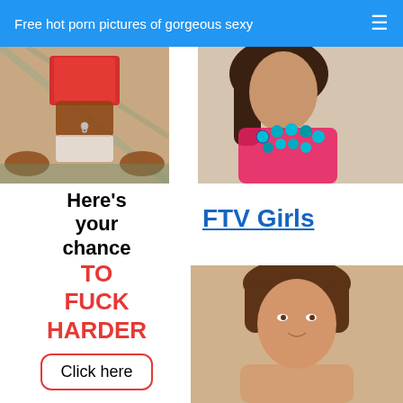Free hot porn pictures of gorgeous sexy
[Figure (photo): Person in red top leaning forward, belly button ring visible, outdoor setting]
[Figure (photo): Woman in pink/red top with large teal beaded necklace, dark curly hair]
Here's your chance TO FUCK HARDER
Click here
FTV Girls
[Figure (photo): Young woman with brown hair, smiling, appears to be indoors with warm lighting]